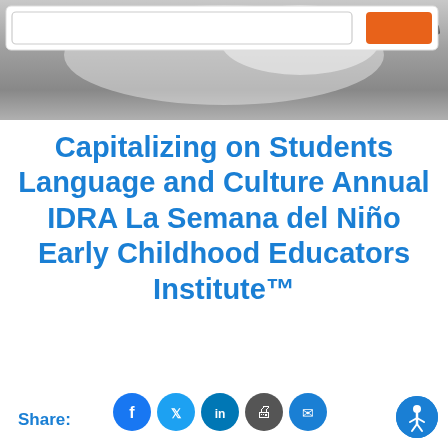[Figure (photo): Header image showing a blurred black and white photo of a book or notebook, with a search bar and orange button overlay at the top]
Capitalizing on Students Language and Culture Annual IDRA La Semana del Niño Early Childhood Educators Institute™
Share:
[Figure (infographic): Row of social media sharing icons: Facebook, Twitter, LinkedIn, Print, Email]